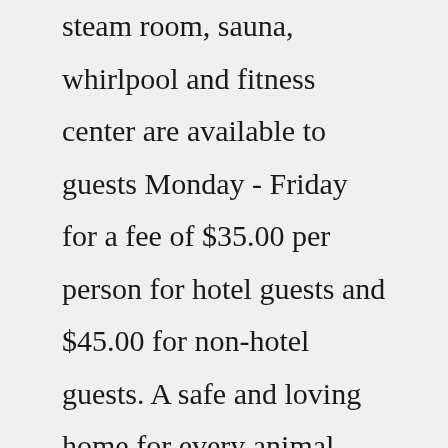steam room, sauna, whirlpool and fitness center are available to guests Monday - Friday for a fee of $35.00 per person for hotel guests and $45.00 for non-hotel guests. A safe and loving home for every animal. New Hampshire's oldest and largest animal shelter dedicated to helping people and pets across NH through pet adoption services, cruelty intervention, dog training classes, summer camp and clubs for kids, low cost spay/ neuter clinics and much